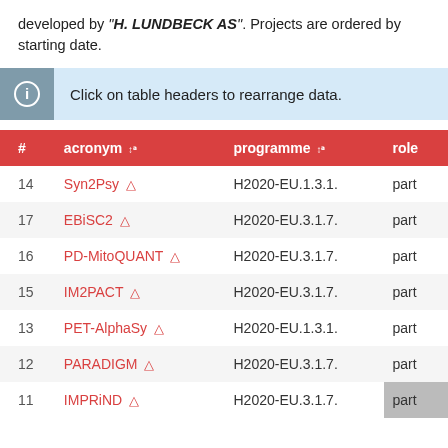developed by "H. LUNDBECK AS". Projects are ordered by starting date.
Click on table headers to rearrange data.
| # | acronym ↕ | programme ↕ | role |
| --- | --- | --- | --- |
| 14 | Syn2Psy 🧪 | H2020-EU.1.3.1. | part |
| 17 | EBiSC2 🧪 | H2020-EU.3.1.7. | part |
| 16 | PD-MitoQUANT 🧪 | H2020-EU.3.1.7. | part |
| 15 | IM2PACT 🧪 | H2020-EU.3.1.7. | part |
| 13 | PET-AlphaSy 🧪 | H2020-EU.1.3.1. | part |
| 12 | PARADIGM 🧪 | H2020-EU.3.1.7. | part |
| 11 | IMPRiND 🧪 | H2020-EU.3.1.7. | part |